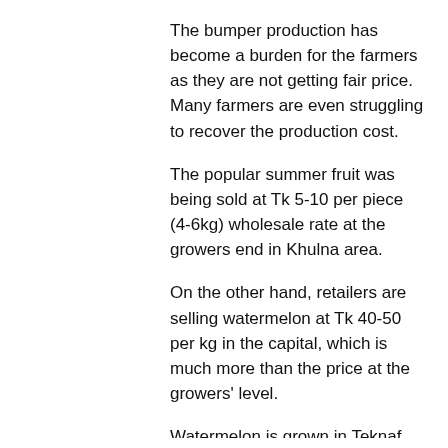The bumper production has become a burden for the farmers as they are not getting fair price. Many farmers are even struggling to recover the production cost.
The popular summer fruit was being sold at Tk 5-10 per piece (4-6kg) wholesale rate at the growers end in Khulna area.
On the other hand, retailers are selling watermelon at Tk 40-50 per kg in the capital, which is much more than the price at the growers' level.
Watermelon is grown in Teknaf, Shahporir Dip, Sandwip, Noakhali, Khulna,  Feni, Bhola, Patuakhali, Barguna, Mymensingh, Jamalpur, Gaibandha, Meherpur, Pabna and some others area in the country.
Lucrative price encourages farmers to cultivate the summer fruit in the tropical weather while country has seen a bumper watermelon yield in the last three constructive years.